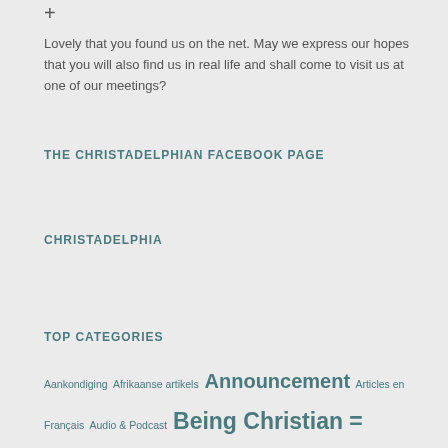+
Lovely that you found us on the net. May we express our hopes that you will also find us in real life and shall come to visit us at one of our meetings?
THE CHRISTADELPHIAN FACEBOOK PAGE
CHRISTADELPHIA
TOP CATEGORIES
Aankondiging  Afrikaanse artikels  Announcement  Articles en Français  Audio & Podcast  Being Christian = Following Jesus Christ